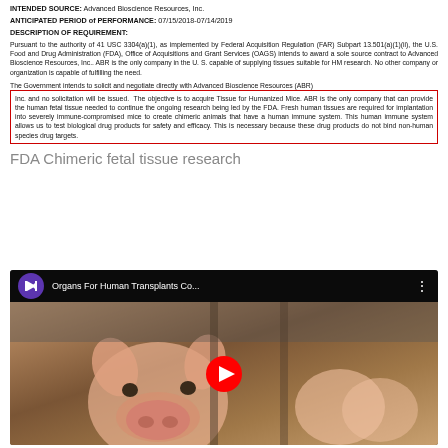INTENDED SOURCE: Advanced Bioscience Resources, Inc.
ANTICIPATED PERIOD of PERFORMANCE: 07/15/2018-07/14/2019
DESCRIPTION OF REQUIREMENT:
Pursuant to the authority of 41 USC 3304(a)(1), as implemented by Federal Acquisition Regulation (FAR) Subpart 13.501(a)(1)(ii), the U.S. Food and Drug Administration (FDA), Office of Acquisitions and Grant Services (OAGS) intends to award a sole source contract to Advanced Bioscience Resources, Inc.. ABR is the only company in the U. S. capable of supplying tissues suitable for HM research. No other company or organization is capable of fulfilling the need.
The Government intends to solicit and negotiate directly with Advanced Bioscience Resources (ABR) Inc. and no solicitation will be issued. The objective is to acquire Tissue for Humanized Mice. ABR is the only company that can provide the human fetal tissue needed to continue the ongoing research being led by the FDA. Fresh human tissues are required for implantation into severely immune-compromised mice to create chimeric animals that have a human immune system. This human immune system allows us to test biological drug products for safety and efficacy. This is necessary because these drug products do not bind non-human species drug targets.
FDA Chimeric fetal tissue research
[Figure (screenshot): YouTube video thumbnail showing pigs in a barn with title 'Organs For Human Transplants Co...' and a play button overlay]